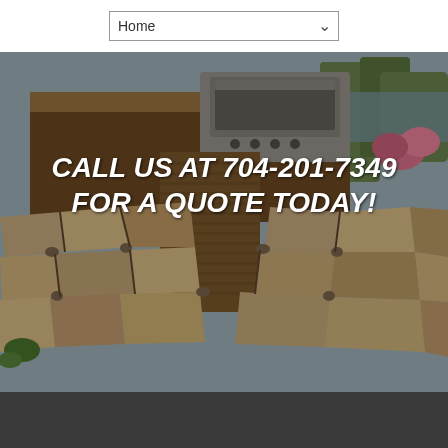Home
[Figure (photo): Outdoor stone patio with flagstone pavers and an outdoor kitchen featuring a stainless steel grill, stone countertops, and landscaping in the background near a lake.]
CALL US AT 704-201-7349 FOR A QUOTE TODAY!